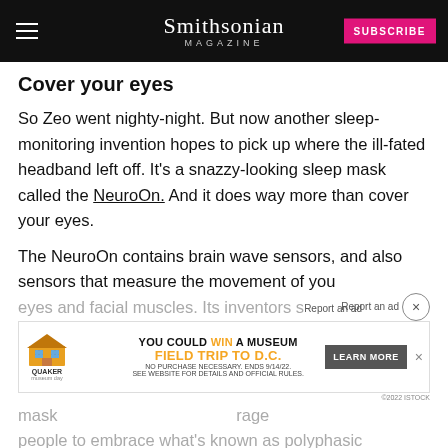Smithsonian MAGAZINE
Cover your eyes
So Zeo went nighty-night. But now another sleep-monitoring invention hopes to pick up where the ill-fated headband left off. It's a snazzy-looking sleep mask called the NeuroOn. And it does way more than cover your eyes.
The NeuroOn contains brain wave sensors, and also sensors that measure the movement of you
eyes and facial muscles. Its inventors s mask rage people to embrace what's known as polyphasic